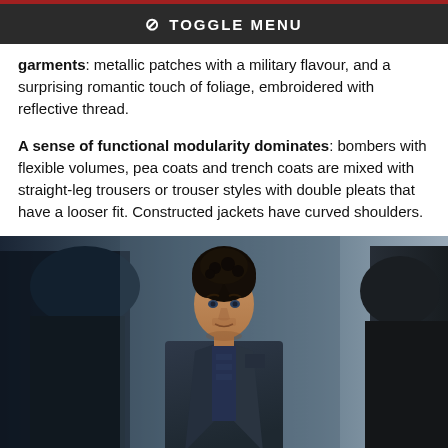TOGGLE MENU
garments: metallic patches with a military flavour, and a surprising romantic touch of foliage, embroidered with reflective thread.
A sense of functional modularity dominates: bombers with flexible volumes, pea coats and trench coats are mixed with straight-leg trousers or trouser styles with double pleats that have a looser fit. Constructed jackets have curved shoulders.
[Figure (photo): Fashion runway photo of a male model with curly dark hair wearing a dark charcoal suit jacket over a dark patterned shirt, walking the runway with other figures blurred in the background.]